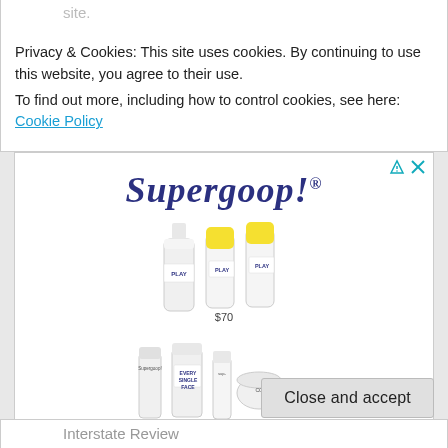site.
Privacy & Cookies: This site uses cookies. By continuing to use this website, you agree to their use.
To find out more, including how to control cookies, see here: Cookie Policy
[Figure (illustration): Supergoop! advertisement showing three product groups: sunscreen spray bottles labeled PLAY priced at $70, skincare tubes and cream priced at $30, and a CC screen product priced at $42. Supergoop! logo in blue italic script at top.]
Close and accept
Interstate Review